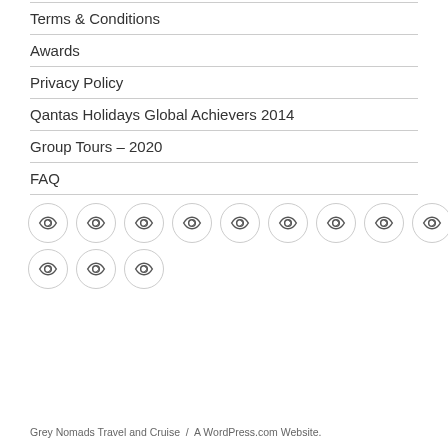Terms & Conditions
Awards
Privacy Policy
Qantas Holidays Global Achievers 2014
Group Tours – 2020
FAQ
[Figure (other): Two rows of circular social media or link icons with eye/link symbols inside them]
Grey Nomads Travel and Cruise  /  A WordPress.com Website.